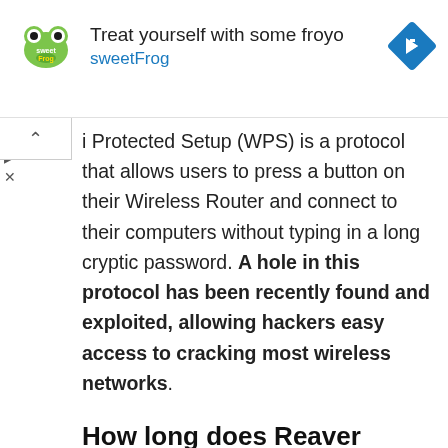[Figure (other): SweetFrog advertisement banner with logo, text 'Treat yourself with some froyo sweetFrog', and a blue diamond arrow icon]
i Protected Setup (WPS) is a protocol that allows users to press a button on their Wireless Router and connect to their computers without typing in a long cryptic password. A hole in this protocol has been recently found and exploited, allowing hackers easy access to cracking most wireless networks.
How long does Reaver crack WPS?
When you find a WPS enabled and unlocked device, Reaver is capable of finding the PIN by running